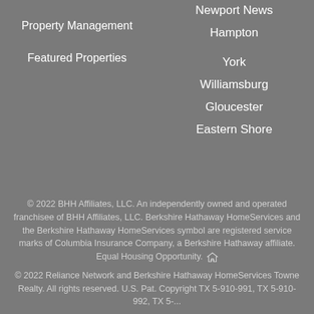Property Management
Featured Properties
Newport News
Hampton
York
Williamsburg
Gloucester
Eastern Shore
© 2022 BHH Affiliates, LLC. An independently owned and operated franchisee of BHH Affiliates, LLC. Berkshire Hathaway HomeServices and the Berkshire Hathaway HomeServices symbol are registered service marks of Columbia Insurance Company, a Berkshire Hathaway affiliate. Equal Housing Opportunity.
© 2022 Reliance Network and Berkshire Hathaway HomeServices Towne Realty. All rights reserved. U.S. Patent Copyright TX 5-910-991, TX 5-910-992, TX 5-...